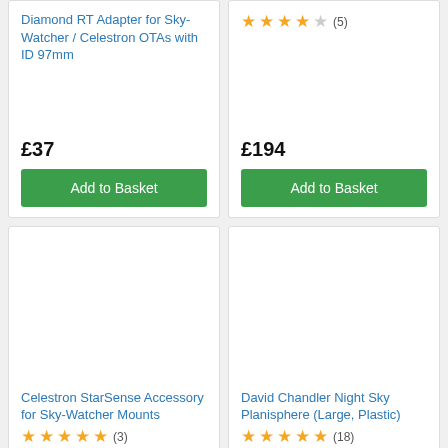Diamond RT Adapter for Sky-Watcher / Celestron OTAs with ID 97mm
£37
Add to Basket
[Figure (other): 4 filled stars and 1 empty star rating with review count (5)]
£194
Add to Basket
[Figure (photo): Product image area (blank) for Celestron StarSense Accessory for Sky-Watcher Mounts]
Celestron StarSense Accessory for Sky-Watcher Mounts
[Figure (other): 5 filled stars rating with review count (3)]
[Figure (photo): Product image area (blank) for David Chandler Night Sky Planisphere (Large, Plastic)]
David Chandler Night Sky Planisphere (Large, Plastic)
[Figure (other): 4.5 filled stars rating with review count (18)]